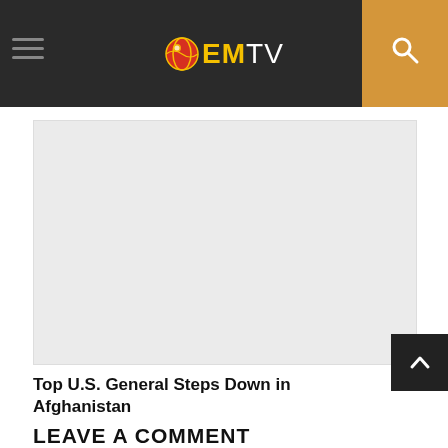EMTV
[Figure (photo): Empty light grey image placeholder for article about Top U.S. General Steps Down in Afghanistan]
Top U.S. General Steps Down in Afghanistan
LEAVE A COMMENT